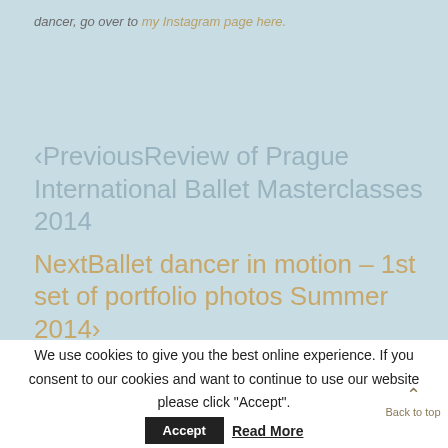dancer, go over to my Instagram page here.
‹PreviousReview of Prague International Ballet Masterclasses 2014
NextBallet dancer in motion – 1st set of portfolio photos Summer 2014›
We use cookies to give you the best online experience. If you consent to our cookies and want to continue to use our website please click "Accept".
Accept
Read More
Back to top